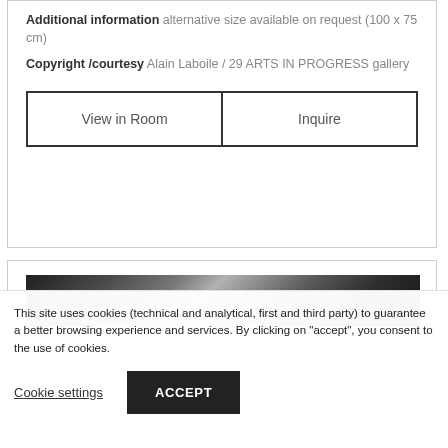Additional information alternative size available on request (100 x 75 cm)
Copyright /courtesy Alain Laboile / 29 ARTS IN PROGRESS gallery
View in Room
Inquire
[Figure (photo): Grayscale photographic strip, partially visible at the bottom of a card section]
This site uses cookies (technical and analytical, first and third party) to guarantee a better browsing experience and services. By clicking on "accept", you consent to the use of cookies.
Cookie settings
ACCEPT